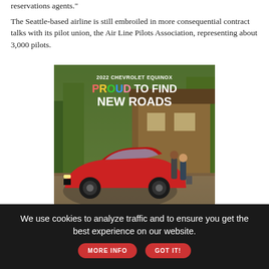reservations agents."
The Seattle-based airline is still embroiled in more consequential contract talks with its pilot union, the Air Line Pilots Association, representing about 3,000 pilots.
[Figure (photo): Advertisement for 2022 Chevrolet Equinox with text 'PROUD TO FIND NEW ROADS', showing a red SUV in front of a cabin with two people walking. Chevrolet logo and 'Learn More' button at bottom.]
We use cookies to analyze traffic and to ensure you get the best experience on our website. MORE INFO  GOT IT!